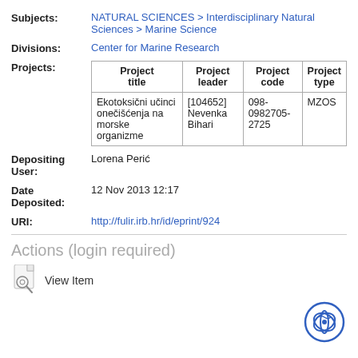Subjects: NATURAL SCIENCES > Interdisciplinary Natural Sciences > Marine Science
Divisions: Center for Marine Research
| Project title | Project leader | Project code | Project type |
| --- | --- | --- | --- |
| Ekotoksični učinci onečišćenja na morske organizme | [104652] Nevenka Bihari | 098-0982705-2725 | MZOS |
Depositing User: Lorena Perić
Date Deposited: 12 Nov 2013 12:17
URI: http://fulir.irb.hr/id/eprint/924
Actions (login required)
View Item